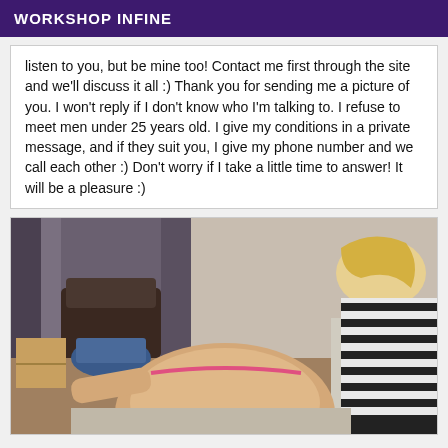WORKSHOP INFINE
listen to you, but be mine too! Contact me first through the site and we'll discuss it all :) Thank you for sending me a picture of you. I won't reply if I don't know who I'm talking to. I refuse to meet men under 25 years old. I give my conditions in a private message, and if they suit you, I give my phone number and we call each other :) Don't worry if I take a little time to answer! It will be a pleasure :)
[Figure (photo): A photograph of a bedroom scene with a person and room furnishings visible.]